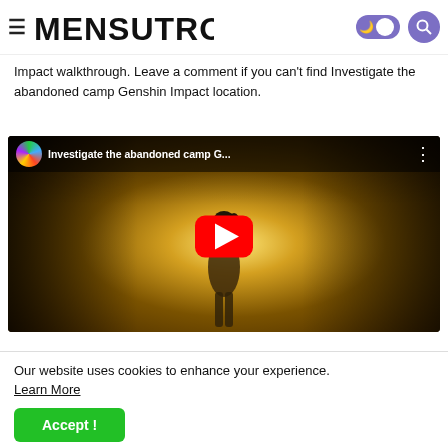MENSUTROPRO
Impact walkthrough. Leave a comment if you can't find Investigate the abandoned camp Genshin Impact location.
[Figure (screenshot): YouTube video embed thumbnail showing 'Investigate the abandoned camp G...' with a game scene from Genshin Impact featuring a character silhouette against a bright light background, with a red YouTube play button in the center.]
Our website uses cookies to enhance your experience. Learn More
Accept !